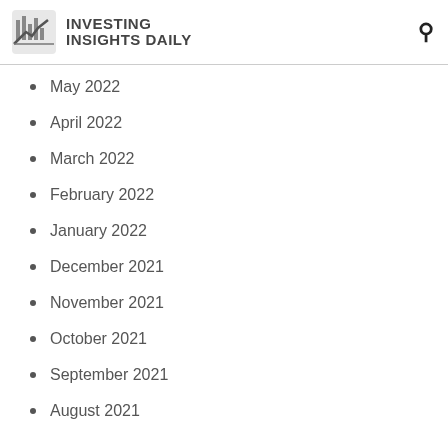INVESTING INSIGHTS DAILY
May 2022
April 2022
March 2022
February 2022
January 2022
December 2021
November 2021
October 2021
September 2021
August 2021